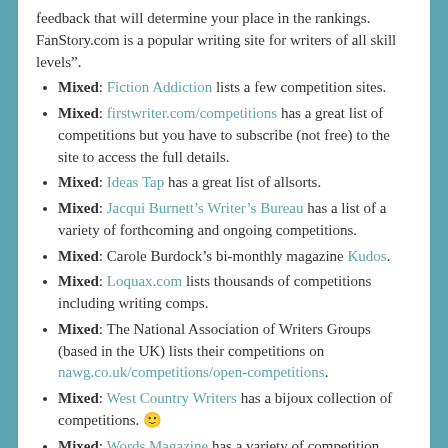feedback that will determine your place in the rankings. FanStory.com is a popular writing site for writers of all skill levels".
Mixed: Fiction Addiction lists a few competition sites.
Mixed: firstwriter.com/competitions has a great list of competitions but you have to subscribe (not free) to the site to access the full details.
Mixed: Ideas Tap has a great list of allsorts.
Mixed: Jacqui Burnett’s Writer’s Bureau has a list of a variety of forthcoming and ongoing competitions.
Mixed: Carole Burdock’s bi-monthly magazine Kudos.
Mixed: Loquax.com lists thousands of competitions including writing comps.
Mixed: The National Association of Writers Groups (based in the UK) lists their competitions on nawg.co.uk/competitions/open-competitions.
Mixed: West Country Writers has a bijoux collection of competitions. 🙂
Mixed: Words Magazine has a variety of competition